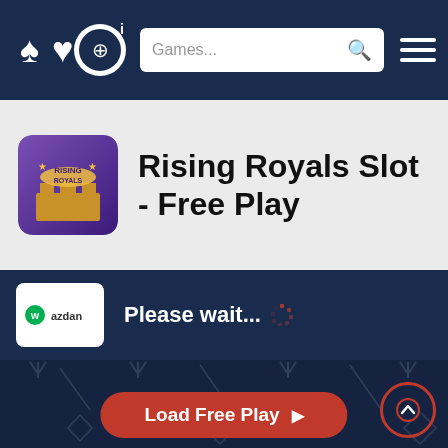OCG navigation bar with logo, search bar (Games...), and hamburger menu
Rising Royals Slot - Free Play
[Figure (screenshot): Rising Royals slot game icon — purple/gold themed slot machine thumbnail]
Please wait...
[Figure (logo): Wazdan provider logo on white background]
[Figure (screenshot): Dark blue game loading area with diamond and arrow pattern background, Load Free Play button, and scroll-up button]